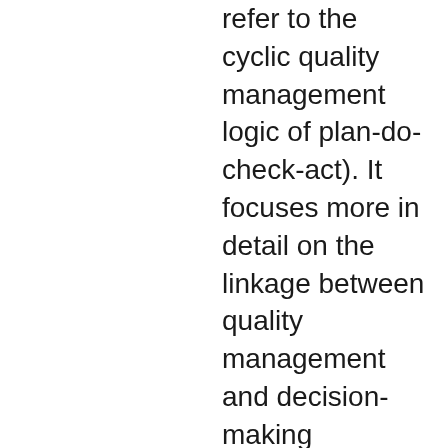refer to the cyclic quality management logic of plan-do-check-act). It focuses more in detail on the linkage between quality management and decision-making processes and it analyses the functions of involved parties